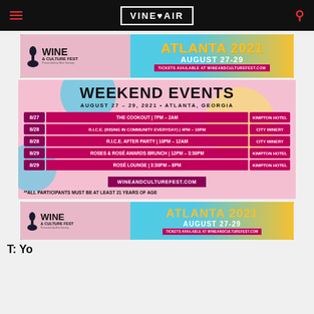VINEPAIR
[Figure (infographic): Wine & Culture Fest banner ad: Atlanta 2021, August 27-29, tickets at wineandculturefest.com]
[Figure (infographic): Weekend Events schedule: August 27-29, 2021, Atlanta Georgia. Events: 8/27 The Cookout 7PM-2AM Kimpton Hotel; 8/28 R.I.C.E. (Rising In Community Everyday) 4PM-10PM City Winery; 8/28 R.I.C.E. After Party 10PM-12AM City Winery; 8/29 Roses & Rosé Awards Brunch 12PM-3:30PM Kimpton Hotel; 8/29 Rosé Lounge 3:30PM-8PM Kimpton Hotel. Website: wineandculturefest.com. **All participants must be at least 21 years of age]
[Figure (infographic): Wine & Culture Fest banner ad (bottom): Atlanta 2021, August 27-29]
T: Yo